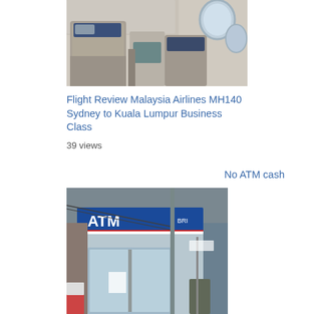[Figure (photo): Interior photo of Malaysia Airlines business class cabin showing blue seats and aircraft windows]
Flight Review Malaysia Airlines MH140 Sydney to Kuala Lumpur Business Class
39 views
No ATM cash
[Figure (photo): Photo of an ATM machine storefront with BRI bank signage, partially visible]